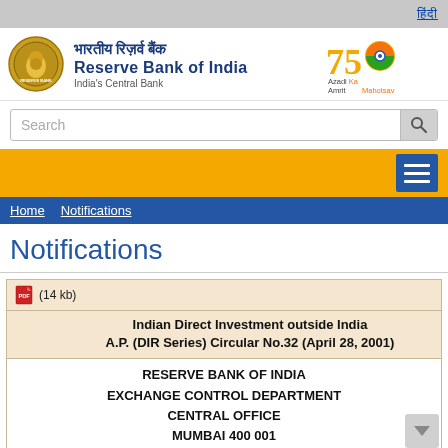हिंदी
[Figure (logo): Reserve Bank of India logo with Hindi text भारतीय रिज़र्व बैंक, English text Reserve Bank of India, India's Central Bank, and Azadi Ka Amrit Mahotsav logo]
Search
Home  Notifications
Notifications
(14 kb)
Indian Direct Investment outside India
A.P. (DIR Series) Circular No.32 (April 28, 2001)
RESERVE BANK OF INDIA
EXCHANGE CONTROL DEPARTMENT
CENTRAL OFFICE
MUMBAI 400 001